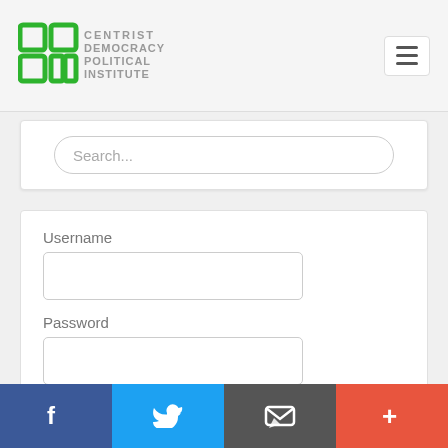[Figure (logo): Centrist Democracy Political Institute logo — green square grid icon with text]
Search...
Username
Password
Remember me
LOGIN
Forgot your password?
Forgot your username?
[Figure (infographic): Social media bottom bar with Facebook, Twitter, email, and plus icons]